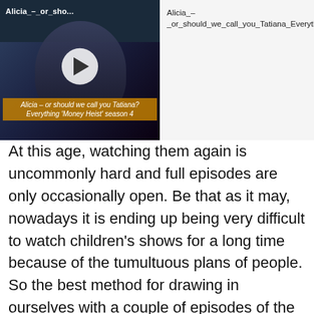[Figure (screenshot): A screenshot showing a video thumbnail on the left (dark scene from Money Heist with a play button and subtitle text 'Alicia – or should we call you Tatiana? Everything Money Heist season 4') and a video info panel on the right with the filename 'Alicia_–_or_should_we_call_you_Tatiana_Everything_Money_Heist_season_4_1080p' and a close (X) button.]
At this age, watching them again is uncommonly hard and full episodes are only occasionally open. Be that as it may, nowadays it is ending up being very difficult to watch children's shows for a long time because of the tumultuous plans of people. So the best method for drawing in ourselves with a couple of episodes of the movement is by watching cartoons online.
The most reasonable method for watching cartoons is the Internet. In contrast to when